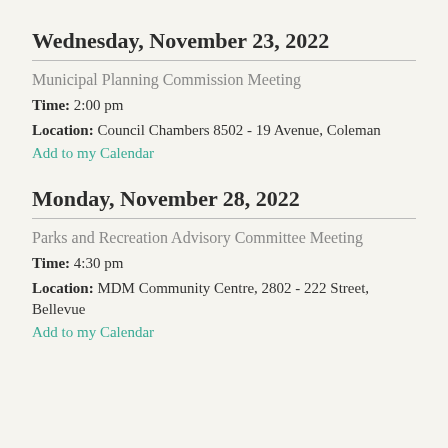Wednesday, November 23, 2022
Municipal Planning Commission Meeting
Time: 2:00 pm
Location: Council Chambers 8502 - 19 Avenue, Coleman
Add to my Calendar
Monday, November 28, 2022
Parks and Recreation Advisory Committee Meeting
Time: 4:30 pm
Location: MDM Community Centre, 2802 - 222 Street, Bellevue
Add to my Calendar